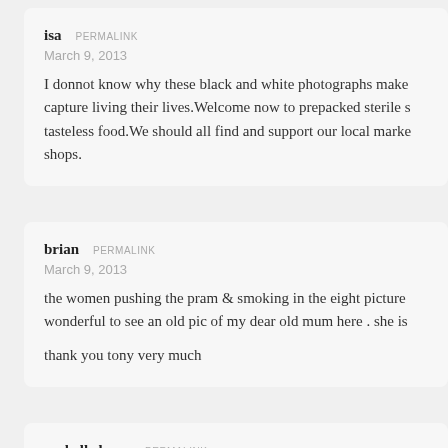isa PERMALINK
March 9, 2013
I donnot know why these black and white photographs make capture living their lives.Welcome now to prepacked sterile s tasteless food.We should all find and support our local marke shops.
brian PERMALINK
March 9, 2013
the women pushing the pram & smoking in the eight picture wonderful to see an old pic of my dear old mum here . she is

thank you tony very much
rachelle leary PERMALINK
April 13, 2013